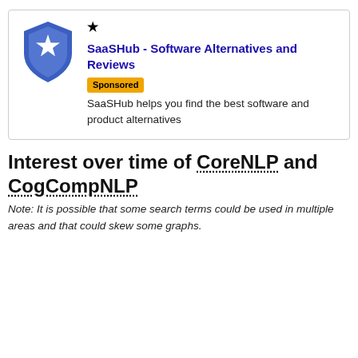[Figure (logo): SaaSHub shield logo — blue shield with white star, SaaSHub sponsored advertisement box]
★ SaaSHub - Software Alternatives and Reviews [Sponsored]
SaaSHub helps you find the best software and product alternatives
Interest over time of CoreNLP and CogCompNLP
Note: It is possible that some search terms could be used in multiple areas and that could skew some graphs.